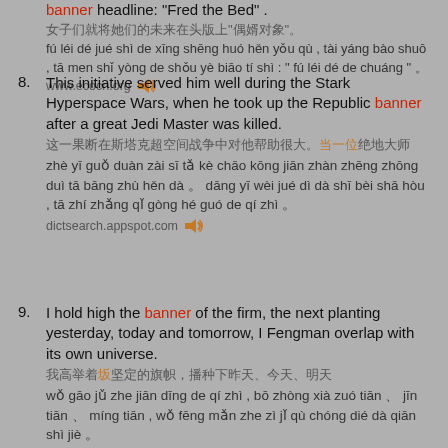banner headline: "Fred the Bed" .
[Chinese characters] "[characters]"
fú léi dé jué shì de xīng shēng huó hěn yǒu qù , tài yáng bào shuō , tā men shǐ yòng de shǒu yè biāo tí shì : " fú léi dé de chuáng " 。
www.ecocn.org
8. This initiative served him well during the Stark Hyperspace Wars, when he took up the Republic banner after a great Jedi Master was killed.
[Chinese characters]
zhè yī guǒ duàn zài sī tǎ kè chāo kōng jiān zhàn zhēng zhōng duì tā bāng zhù hěn dà 。 dāng yī wèi jué dì dà shī bèi shā hòu , tā zhí zhǎng qǐ gòng hé guó de qí zhì 。
dictsearch.appspot.com
9. I hold high the banner of the firm, the next planting yesterday, today and tomorrow, I Fengman overlap with its own universe.
[Chinese characters]
wǒ gāo jǔ zhe jiān dīng de qí zhì , bō zhòng xià zuó tiān 、 jīn tiān 、 míng tiān , wǒ fēng mǎn zhe zì jǐ qù chóng dié dà qiān shì jiè 。
www.ywfob.com